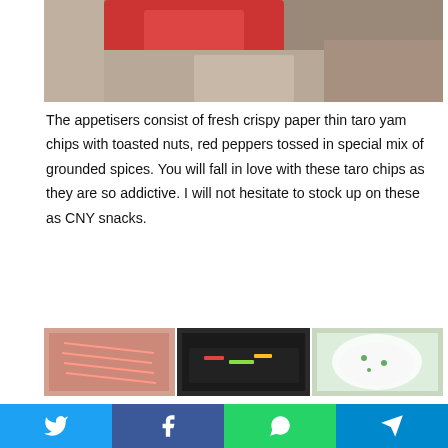[Figure (photo): Top portion of a photo showing food appetisers being held, with red and beige tones]
The appetisers consist of fresh crispy paper thin taro yam chips with toasted nuts, red peppers tossed in special mix of grounded spices. You will fall in love with these taro chips as they are so addictive. I will not hesitate to stock up on these as CNY snacks.
[Figure (photo): Grid of 6 food photos showing various appetisers in white bowls: golden dumplings/balls, braised meat with herbs, spicy prawns, carved carrots/radish, black bean stir-fry with peppers, and a white tofu/vegetable dish. Singapore Beauty watermark visible.]
Also look out for the other appetisers such as deep fried golden
[Figure (infographic): Social media share bar with Twitter, Facebook, WhatsApp, and Telegram buttons]